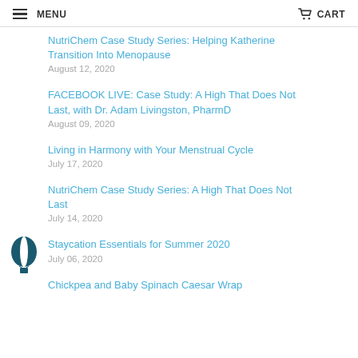MENU  CART
NutriChem Case Study Series: Helping Katherine Transition Into Menopause
August 12, 2020
FACEBOOK LIVE: Case Study: A High That Does Not Last, with Dr. Adam Livingston, PharmD
August 09, 2020
Living in Harmony with Your Menstrual Cycle
July 17, 2020
NutriChem Case Study Series: A High That Does Not Last
July 14, 2020
Staycation Essentials for Summer 2020
July 06, 2020
Chickpea and Baby Spinach Caesar Wrap